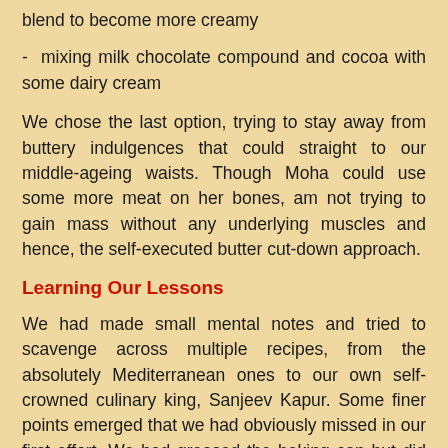blend to become more creamy
- mixing milk chocolate compound and cocoa with some dairy cream
We chose the last option, trying to stay away from buttery indulgences that could straight to our middle-ageing waists. Though Moha could use some more meat on her bones, am not trying to gain mass without any underlying muscles and hence, the self-executed butter cut-down approach.
Learning Our Lessons
We had made small mental notes and tried to scavenge across multiple recipes, from the absolutely Mediterranean ones to our own self-crowned culinary king, Sanjeev Kapur. Some finer points emerged that we had obviously missed in our first effort. We had greased the baking can but did not dust it with the dry dough. We had used the wrong type of baking bowl. The sides and the bottom was fixed and this meant we had to knife-out the baked thing – this was a serious problem. This time, we got a baking utensil that had a free-moving, removable base, making the entire process